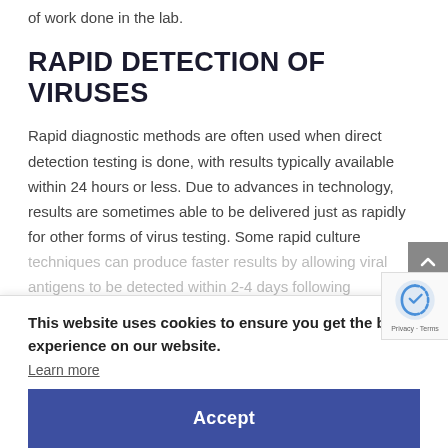of work done in the lab.
RAPID DETECTION OF VIRUSES
Rapid diagnostic methods are often used when direct detection testing is done, with results typically available within 24 hours or less. Due to advances in technology, results are sometimes able to be delivered just as rapidly for other forms of virus testing. Some rapid culture techniques can produce faster results by allowing viral antigens to be detected within 2-4 days following inoculation.
NEWER DETECTION TECHNIQUES
As with bacteriology, newer techniques have led to the increased reliability of virus testing. Use of these methods